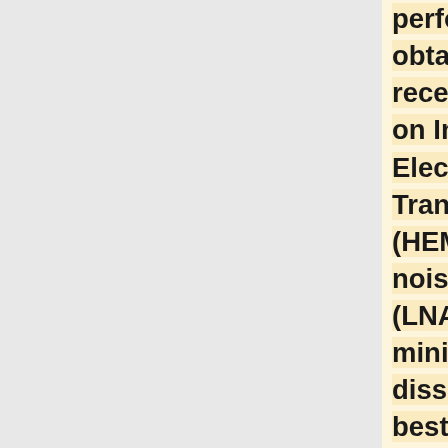performance is obtained with receivers based on InP High Electron Mobility Transistor (HEMT) low noise amplifiers (LNAs) for minimal power dissipation and best performance. To further minimise power consumption in the focal plane, the radiometers are split into two sub-assemblies connected by